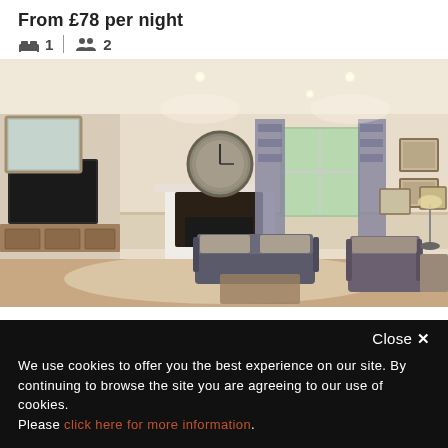From £78 per night
🛏 1  👥 2
[Figure (photo): Interior photo of a well-appointed living room with sofas, armchairs, a fireplace with a round clock mirror above it, patterned curtains framing a window, recessed lighting, and framed pictures on the wall.]
Close ✕
We use cookies to offer you the best experience on our site. By continuing to browse the site you are agreeing to our use of cookies. Please click here for more information.